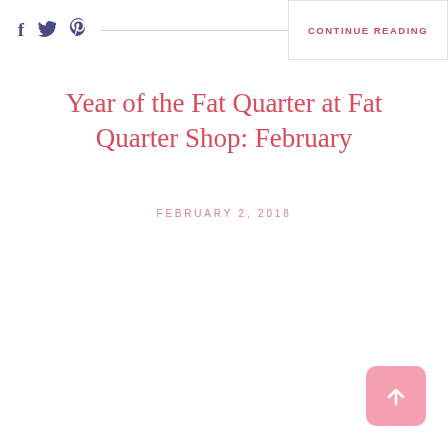f  Twitter  Pinterest  CONTINUE READING
Year of the Fat Quarter at Fat Quarter Shop: February
FEBRUARY 2, 2018